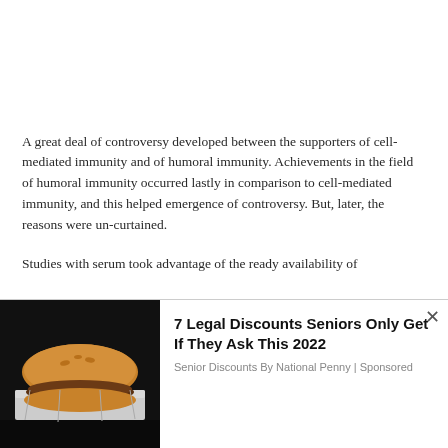A great deal of controversy developed between the supporters of cell-mediated immunity and of humoral immunity. Achievements in the field of humoral immunity occurred lastly in comparison to cell-mediated immunity, and this helped emergence of controversy. But, later, the reasons were un-curtained.
Studies with serum took advantage of the ready availability of
We use cookies on our website to give you the most relevant experience by remembering your preferences and repeat visits. By clicking “Accept”, you consent to the use of ALL the cookies.
Do not sell my personal information.
[Figure (photo): Photo of a hamburger/burger in foil wrapping, dark background]
7 Legal Discounts Seniors Only Get If They Ask This 2022
Senior Discounts By National Penny | Sponsored